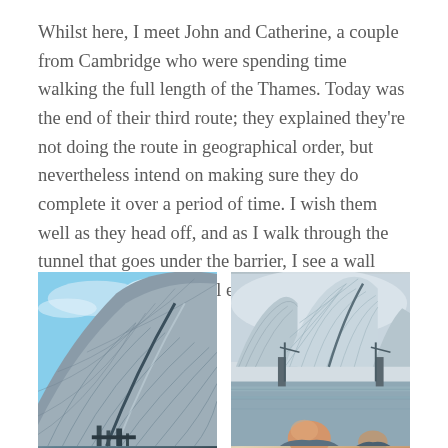Whilst here, I meet John and Catherine, a couple from Cambridge who were spending time walking the full length of the Thames. Today was the end of their third route; they explained they're not doing the route in geographical order, but nevertheless intend on making sure they do complete it over a period of time. I wish them well as they head off, and as I walk through the tunnel that goes under the barrier, I see a wall etching outlining the full extent of the river.
[Figure (photo): Close-up photograph of the Thames Barrier metallic curved hood structure against a blue sky, showing the distinctive silver curved panels with grid-like texture.]
[Figure (photo): Photograph of the Thames Barrier from a distance showing the barrier structures over water, with a bald man visible in the foreground bottom right of the image.]